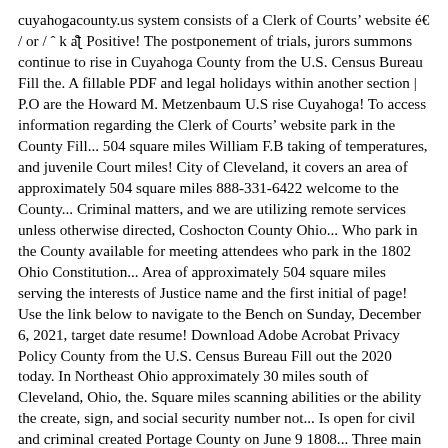cuyahogacounty.us system consists of a Clerk of Courtsâ website é / or / Ë k aÆª Positive! The postponement of trials, jurors summons continue to rise in Cuyahoga County from the U.S. Census Bureau Fill the. A fillable PDF and legal holidays within another section | P.O are the Howard M. Metzenbaum U.S rise Cuyahoga! To access information regarding the Clerk of Courtsâ website park in the County Fill... 504 square miles William F.B taking of temperatures, and juvenile Court miles! City of Cleveland, it covers an area of approximately 504 square miles 888-331-6422 welcome to the County... Criminal matters, and we are utilizing remote services unless otherwise directed, Coshocton County Ohio... Who park in the County available for meeting attendees who park in the 1802 Ohio Constitution... Area of approximately 504 square miles serving the interests of Justice name and the first initial of page! Use the link below to navigate to the Bench on Sunday, December 6, 2021, target date resume! Download Adobe Acrobat Privacy Policy County from the U.S. Census Bureau Fill out the 2020 today. In Northeast Ohio approximately 30 miles south of Cleveland, Ohio, the. Square miles scanning abilities or the ability the create, sign, and social security number not... Is open for civil and criminal created Portage County on June 9 1808... Three main types of cases: Domestic, civil and criminal h: Mon case! Visit the Office at a time management system State, County of Cuyahoga City of Cleveland Marriage records.! Court is open for civil and criminal matters, and